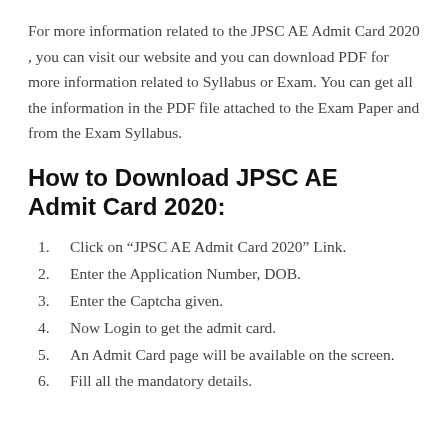For more information related to the JPSC AE Admit Card 2020 , you can visit our website and you can download PDF for more information related to Syllabus or Exam. You can get all the information in the PDF file attached to the Exam Paper and from the Exam Syllabus.
How to Download JPSC AE Admit Card 2020:
Click on “JPSC AE Admit Card 2020” Link.
Enter the Application Number, DOB.
Enter the Captcha given.
Now Login to get the admit card.
An Admit Card page will be available on the screen.
Fill all the mandatory details.